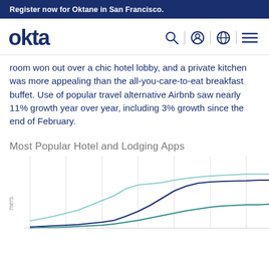Register now for Oktane in San Francisco.
[Figure (logo): Okta logo with navigation icons (search, user, globe, menu)]
room won out over a chic hotel lobby, and a private kitchen was more appealing than the all-you-care-to-eat breakfast buffet. Use of popular travel alternative Airbnb saw nearly 11% growth year over year, including 3% growth since the end of February.
Most Popular Hotel and Lodging Apps
[Figure (line-chart): Line chart showing three trend lines (light teal/top, dark navy/middle, teal/bottom) for hotel and lodging app usage over time. Y-axis label partially visible as 'mers'. Lines show upward trends with the topmost light teal line being highest.]